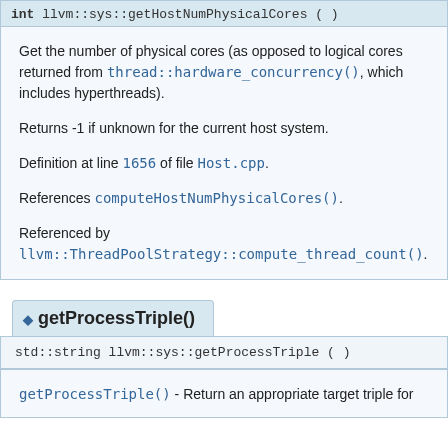int llvm::sys::getHostNumPhysicalCores ( )
Get the number of physical cores (as opposed to logical cores returned from thread::hardware_concurrency(), which includes hyperthreads).

Returns -1 if unknown for the current host system.

Definition at line 1656 of file Host.cpp.

References computeHostNumPhysicalCores().

Referenced by llvm::ThreadPoolStrategy::compute_thread_count().
getProcessTriple()
std::string llvm::sys::getProcessTriple ( )
getProcessTriple() - Return an appropriate target triple for